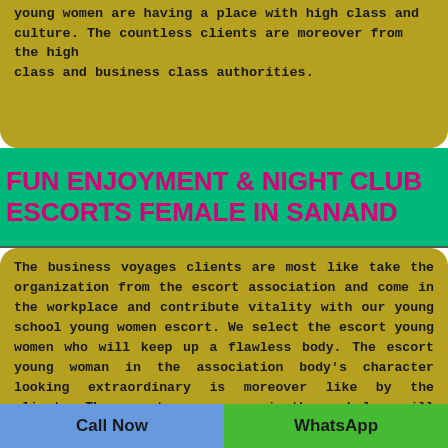young women are having a place with high class and culture. The countless clients are moreover from the high class and business class authorities.
FUN ENJOYMENT & NIGHT CLUB ESCORTS FEMALE IN SANAND
The business voyages clients are most like take the organization from the escort association and come in the workplace and contribute vitality with our young school young women escort. We select the escort young women who will keep up a flawless body. The escort young woman in the association body's character looking extraordinary is moreover like by the clients. The escort young women in the workplace will welcome the clients with thankfulness
Call Now   WhatsApp